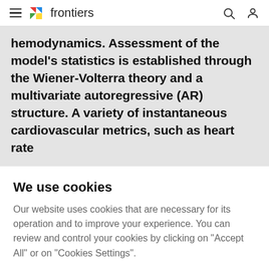frontiers
hemodynamics. Assessment of the model's statistics is established through the Wiener-Volterra theory and a multivariate autoregressive (AR) structure. A variety of instantaneous cardiovascular metrics, such as heart rate
We use cookies
Our website uses cookies that are necessary for its operation and to improve your experience. You can review and control your cookies by clicking on "Accept All" or on "Cookies Settings".
Accept Cookies
Cookies Settings